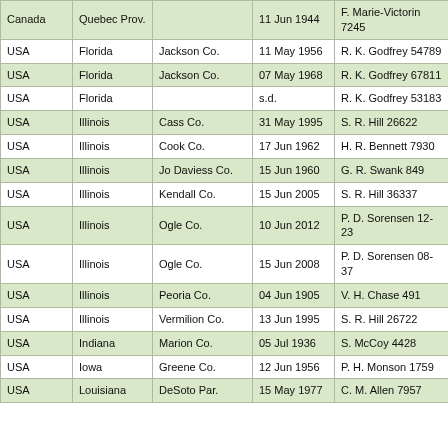| Country | State/Prov. | County | Date | Collector |
| --- | --- | --- | --- | --- |
| Canada | Quebec Prov. |  | 11 Jun 1944 | F. Marie-Victorin 7245 |
| USA | Florida | Jackson Co. | 11 May 1956 | R. K. Godfrey 54789 |
| USA | Florida | Jackson Co. | 07 May 1968 | R. K. Godfrey 67811 |
| USA | Florida |  | s.d. | R. K. Godfrey 53183 |
| USA | Illinois | Cass Co. | 31 May 1995 | S. R. Hill 26622 |
| USA | Illinois | Cook Co. | 17 Jun 1962 | H. R. Bennett 7930 |
| USA | Illinois | Jo Daviess Co. | 15 Jun 1960 | G. R. Swank 849 |
| USA | Illinois | Kendall Co. | 15 Jun 2005 | S. R. Hill 36337 |
| USA | Illinois | Ogle Co. | 10 Jun 2012 | P. D. Sorensen 12-23 |
| USA | Illinois | Ogle Co. | 15 Jun 2008 | P. D. Sorensen 08-37 |
| USA | Illinois | Peoria Co. | 04 Jun 1905 | V. H. Chase 491 |
| USA | Illinois | Vermilion Co. | 13 Jun 1995 | S. R. Hill 26722 |
| USA | Indiana | Marion Co. | 05 Jul 1936 | S. McCoy 4428 |
| USA | Iowa | Greene Co. | 12 Jun 1956 | P. H. Monson 1759 |
| USA | Louisiana | DeSoto Par. | 15 May 1977 | C. M. Allen 7957 |